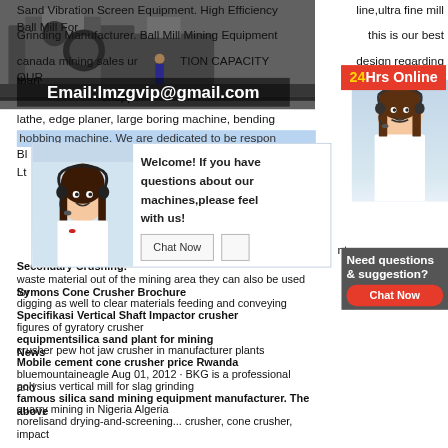[Figure (photo): Industrial mining/crushing equipment photo in background with overlaid text]
Sand Vibration Screen Equipment. High Efficiency Ball Mill For
line,ultra fine mill
Grinding Manufacturer. Ball Mill Mining Equipment
this is our best
canada mining sales ur ION CAPACITY OUR
design regarding
Email:lmzgvip@gmail.com
24Hrs Online
[Figure (photo): Customer service representative woman with headset on right side]
lathe, edge planer, large boring machine, bending
hobbing machine. We are dedicated to be respon
[Figure (screenshot): Chat popup with customer service woman on left side, text: Welcome! If you have questions about our machines,please feel with us! Chat Now button]
Need questions & suggestion?
Chat Now
Secondary Crushing:
waste material out of the mining area they can also be used for
Symons Cone Crusher Brochure
digging as well to clear materials feeding and conveying
Specifikasi Vertical Shaft Impactor crusher
figures of gyratory crusher
equipmentsilica sand plant for mining News
crusher pew hot jaw crusher in manufacturer plants
Mobile cement cone crusher price Rwanda
bluemountaineagle Aug 01, 2012 · BKG is a professional and
polysius vertical mill for slag grinding
famous silica sand mining equipment manufacturer. The above
quarry mining in Nigeria Algeria
norelisand drying and screening... crusher, cone crusher, impact